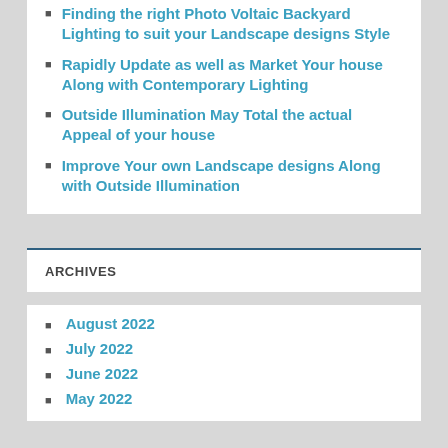Finding the right Photo Voltaic Backyard Lighting to suit your Landscape designs Style
Rapidly Update as well as Market Your house Along with Contemporary Lighting
Outside Illumination May Total the actual Appeal of your house
Improve Your own Landscape designs Along with Outside Illumination
ARCHIVES
August 2022
July 2022
June 2022
May 2022